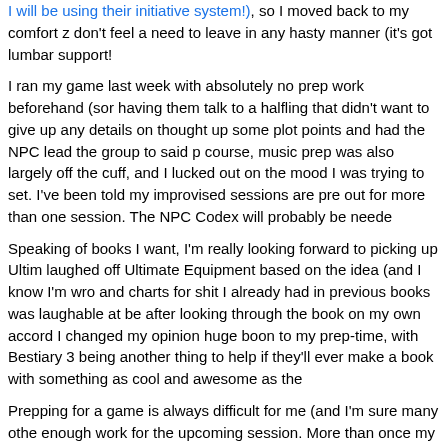I will be using their initiative system!), so I moved back to my comfort z don't feel a need to leave in any hasty manner (it's got lumbar support!
I ran my game last week with absolutely no prep work beforehand (sor having them talk to a halfling that didn't want to give up any details on thought up some plot points and had the NPC lead the group to said p course, music prep was also largely off the cuff, and I lucked out on the mood I was trying to set. I've been told my improvised sessions are pre out for more than one session. The NPC Codex will probably be neede
Speaking of books I want, I'm really looking forward to picking up Ultim laughed off Ultimate Equipment based on the idea (and I know I'm wro and charts for shit I already had in previous books was laughable at be after looking through the book on my own accord I changed my opinion huge boon to my prep-time, with Bestiary 3 being another thing to help if they'll ever make a book with something as cool and awesome as the
Prepping for a game is always difficult for me (and I'm sure many othe enough work for the upcoming session. More than once my groups ha anticipated, and I've had to excuse myself from everyone and "use" the throw into the remaining session. Most of the time this works, though a what the hell it was that came to me on The Porcelain Throne (not to b Throne). On the rare occasion this does happen, I've found that hones well, with them being more than willing to take a quick break while I co
Well, that about wraps it up for this edition of the blog post. Until next t